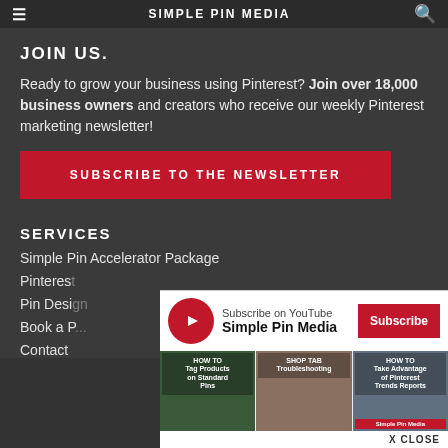Simple Pin Media
JOIN US.
Ready to grow your business using Pinterest? Join over 18,000 business owners and creators who receive our weekly Pinterest marketing newsletter!
SUBSCRIBE TO THE NEWSLETTER
SERVICES
Simple Pin Accelerator Package
Pinterest
Pin Design
Book a P
Contact
[Figure (screenshot): YouTube subscription overlay showing Simple Pin Media channel with subscribe button and video thumbnails including 'Tag Products on Standard Pins', 'Shop Tab Troubleshooting', and 'Take Advantage of Pinterest Trends Reports'. X CLOSE button at bottom right.]